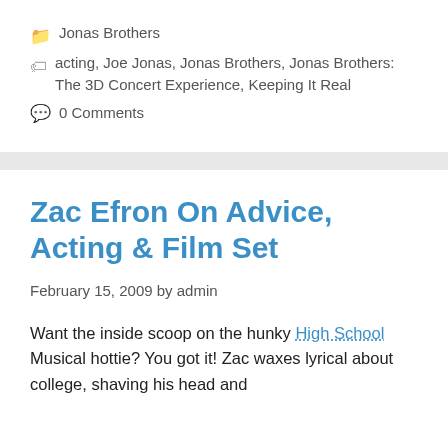Jonas Brothers
acting, Joe Jonas, Jonas Brothers, Jonas Brothers: The 3D Concert Experience, Keeping It Real
0 Comments
Zac Efron On Advice, Acting & Film Set
February 15, 2009 by admin
Want the inside scoop on the hunky High School Musical hottie? You got it! Zac waxes lyrical about college, shaving his head and